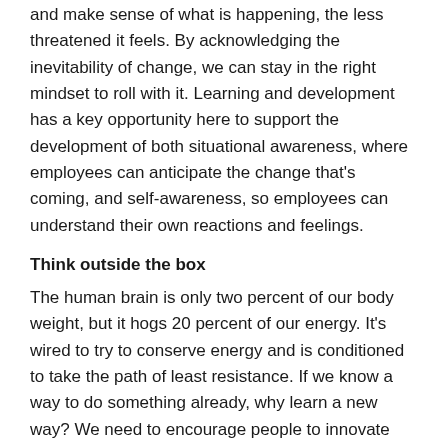and make sense of what is happening, the less threatened it feels. By acknowledging the inevitability of change, we can stay in the right mindset to roll with it. Learning and development has a key opportunity here to support the development of both situational awareness, where employees can anticipate the change that's coming, and self-awareness, so employees can understand their own reactions and feelings.
Think outside the box
The human brain is only two percent of our body weight, but it hogs 20 percent of our energy. It's wired to try to conserve energy and is conditioned to take the path of least resistance. If we know a way to do something already, why learn a new way? We need to encourage people to innovate and take risks to remain competitive in a given industry. Learning and development can help with simple methods to challenge and adapt entrenched thinking while also identifying the intrinsic and extrinsic value of personal development.